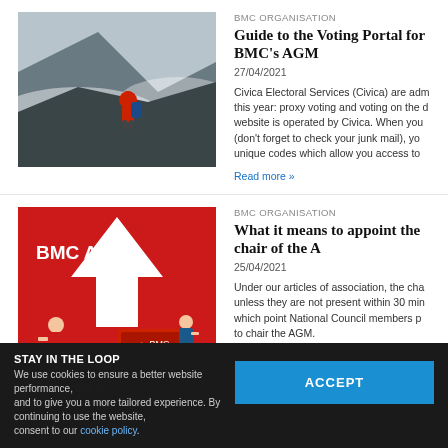BMC ORGANISATION
Guide to the Voting Portal for BMC's AGM
27/04/2021
[Figure (photo): Person with red hoodie and blue backpack sitting on a mountain overlooking misty valleys]
Civica Electoral Services (Civica) are administering this year: proxy voting and voting on the day. Their website is operated by Civica. When you receive an email (don't forget to check your junk mail), you will receive unique codes which allow you access to
Read more »
BMC ORGANISATION
What it means to appoint the chair of the A
25/04/2021
[Figure (illustration): BMC AGM promotional graphic with red background, white arrow, and illustrated people at desks with BMC branding]
Under our articles of association, the chair unless they are not present within 30 min which point National Council members p to chair the AGM.
Read more »
STAY IN THE LOOP
We use cookies to ensure a better website performance, traffic and to give you a more tailored experience. By continuing to use the website, consent to our cookie policy.